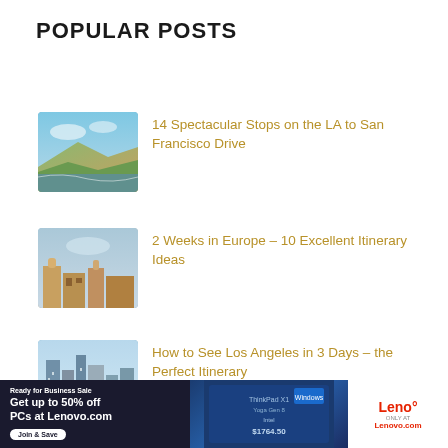POPULAR POSTS
14 Spectacular Stops on the LA to San Francisco Drive
2 Weeks in Europe – 10 Excellent Itinerary Ideas
How to See Los Angeles in 3 Days – the Perfect Itinerary
One Day in L.A. – How to See the Best of Los Angeles in a Day
How to Dress Like a European – The Ultimate
[Figure (photo): Coastal highway scene with cliffs and ocean]
[Figure (photo): European city architecture and buildings]
[Figure (photo): Los Angeles skyline with tall buildings]
[Figure (screenshot): Lenovo advertisement banner - Get up to 50% off PCs at Lenovo.com, Ready for Business Sale]